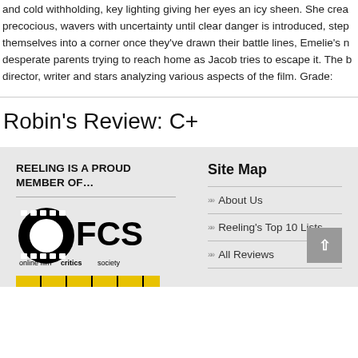and cold withholding, key lighting giving her eyes an icy sheen. She crea precocious, wavers with uncertainty until clear danger is introduced, step themselves into a corner once they've drawn their battle lines, Emelie's n desperate parents trying to reach home as Jacob tries to escape it. The b director, writer and stars analyzing various aspects of the film. Grade:
Robin's Review: C+
REELING IS A PROUD MEMBER OF…
Site Map
About Us
Reeling's Top 10 Lists
All Reviews
[Figure (logo): Online Film Critics Society (OFCS) logo — black film strip circle with FCS text and tagline 'online film critics society']